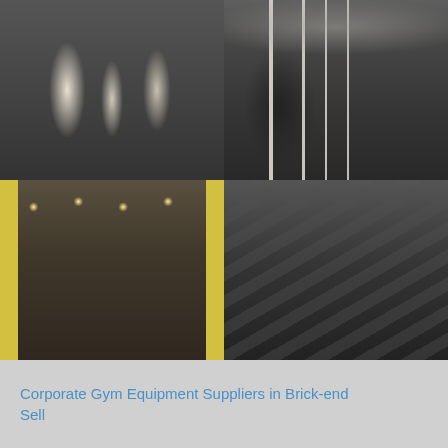[Figure (photo): Four gym photos in a 2x2 grid. Top-left: close-up of indoor cycling/spin bikes in a gym. Top-right: wide view of treadmill row in a gym with yellow pillars and people. Bottom-left: gym floor with weight machines and yellow pillars, overhead lighting. Bottom-right: rows of elliptical/cardio machines in a large gym facility.]
Corporate Gym Equipment Suppliers in Brick-end Sell